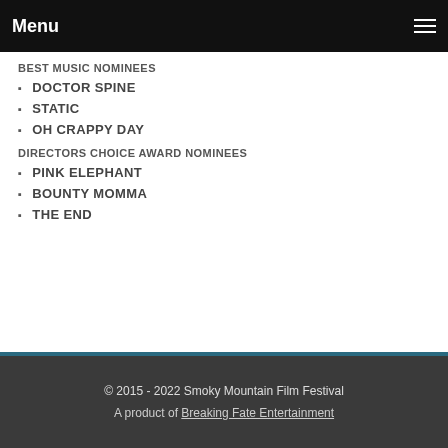Menu
BEST MUSIC NOMINEES
DOCTOR SPINE
STATIC
OH CRAPPY DAY
DIRECTORS CHOICE AWARD NOMINEES
PINK ELEPHANT
BOUNTY MOMMA
THE END
© 2015 - 2022 Smoky Mountain Film Festival
A product of Breaking Fate Entertainment